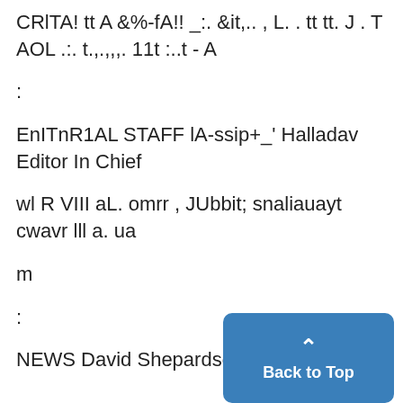CRlTA! tt A &%-fA!! _:. &it,.. , L. . tt tt. J . T AOL .:. t.,.,,,. 11t :..t - A
:
EnITnR1AL STAFF lA-ssip+_' Halladav Editor In Chief
wl R VIII aL. omrr , JUbbit; snaliauayt cwavr lll a. ua
m
:
NEWS David Shepardson, Mana